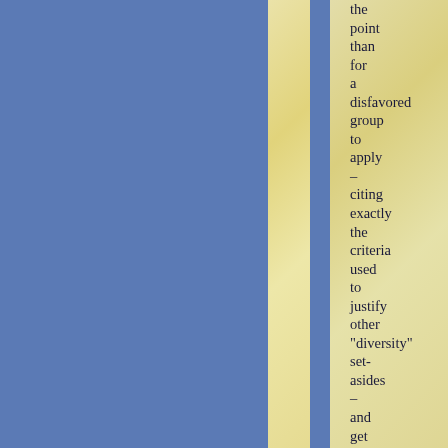the point than for a disfavored group to apply – citing exactly the criteria used to justify other "diversity" set-asides – and get turned down? That is